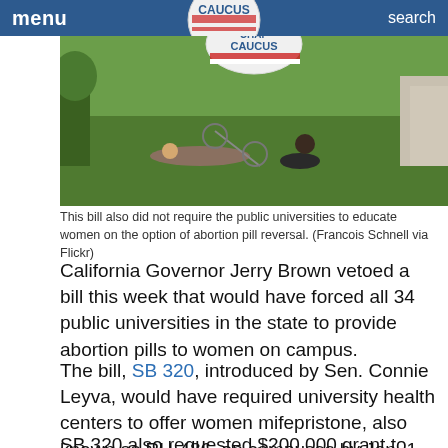menu   search
[Figure (photo): Outdoor photo of two people lying on grass on a college campus, with a bicycle nearby. A balloon with 'CAUCUS' text is partially visible in the upper center.]
This bill also did not require the public universities to educate women on the option of abortion pill reversal. (Francois Schnell via Flickr)
California Governor Jerry Brown vetoed a bill this week that would have forced all 34 public universities in the state to provide abortion pills to women on campus.
The bill, SB 320, introduced by Sen. Connie Leyva, would have required university health centers to offer women mifepristone, also known as RU-486, on campuses by Jan. 1, 2022.
SB 320 also requested $200,000 grant to the...